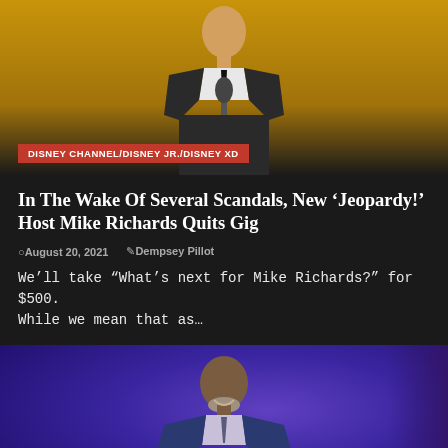[Figure (photo): Person in dark suit at podium with microphone, golden/amber background — top article image with 'DISNEY CHANNEL/DISNEY JR./DISNEY XD' red label overlay]
DISNEY CHANNEL/DISNEY JR./DISNEY XD
In The Wake Of Several Scandals, New ‘Jeopardy!’ Host Mike Richards Quits Gig
August 20, 2021   Dempsey Pillot
We’ll take “What’s next for Mike Richards?” for $500. While we mean that as…
[Figure (photo): Man in blue suit standing on Jeopardy! game show stage with purple background]